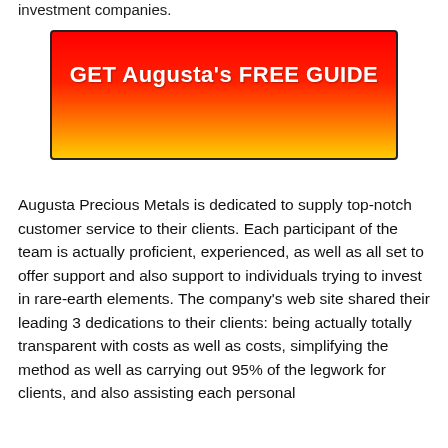investment companies.
[Figure (other): Red to orange/yellow gradient call-to-action button with bold white text reading 'GET Augusta's FREE GUIDE']
Augusta Precious Metals is dedicated to supply top-notch customer service to their clients. Each participant of the team is actually proficient, experienced, as well as all set to offer support and also support to individuals trying to invest in rare-earth elements. The company’s web site shared their leading 3 dedications to their clients: being actually totally transparent with costs as well as costs, simplifying the method as well as carrying out 95% of the legwork for clients, and also assisting each personal